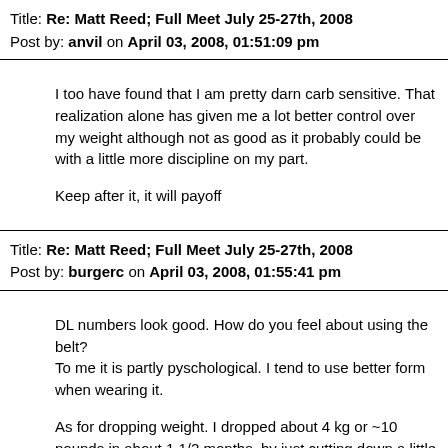Title: Re: Matt Reed; Full Meet July 25-27th, 2008
Post by: anvil on April 03, 2008, 01:51:09 pm
I too have found that I am pretty darn carb sensitive. That realization alone has given me a lot better control over my weight although not as good as it probably could be with a little more discipline on my part.

Keep after it, it will payoff
Title: Re: Matt Reed; Full Meet July 25-27th, 2008
Post by: burgerc on April 03, 2008, 01:55:41 pm
DL numbers look good. How do you feel about using the belt?
To me it is partly pyschological. I tend to use better form when wearing it.

As for dropping weight. I dropped about 4 kg or ~10 pounds in about 1 1/2 months, by just cutting down a little on carb intake (mostly fruit yoghurts :'() and taking a walk more often. I hope your diet plans work for you.
Title: Re: Matt Reed; Full Meet July 25-27th, 2008
Post by: Abbrevi8tor on April 03, 2008, 02:28:33 pm
Thanks Michael and Christian.